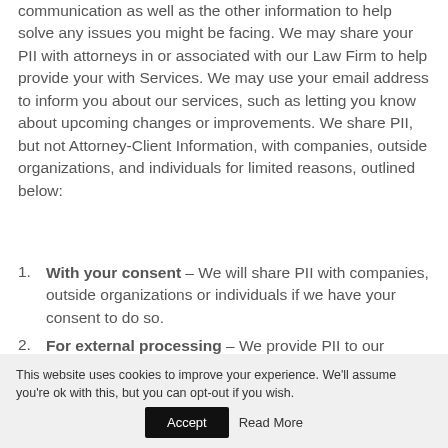communication as well as the other information to help solve any issues you might be facing. We may share your PII with attorneys in or associated with our Law Firm to help provide your with Services. We may use your email address to inform you about our services, such as letting you know about upcoming changes or improvements. We share PII, but not Attorney-Client Information, with companies, outside organizations, and individuals for limited reasons, outlined below:
With your consent – We will share PII with companies, outside organizations or individuals if we have your consent to do so.
For external processing – We provide PII to our affiliates or other trusted businesses or persons to
This website uses cookies to improve your experience. We'll assume you're ok with this, but you can opt-out if you wish. Accept Read More